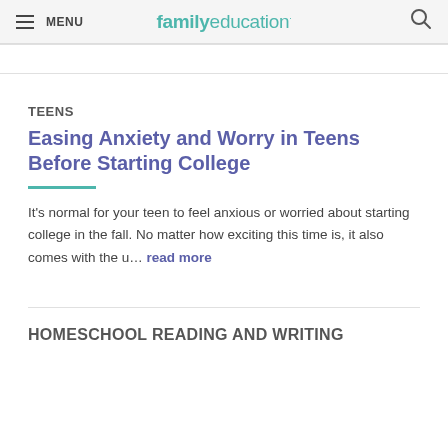MENU | familyeducation
TEENS
Easing Anxiety and Worry in Teens Before Starting College
It's normal for your teen to feel anxious or worried about starting college in the fall. No matter how exciting this time is, it also comes with the u... read more
HOMESCHOOL READING AND WRITING